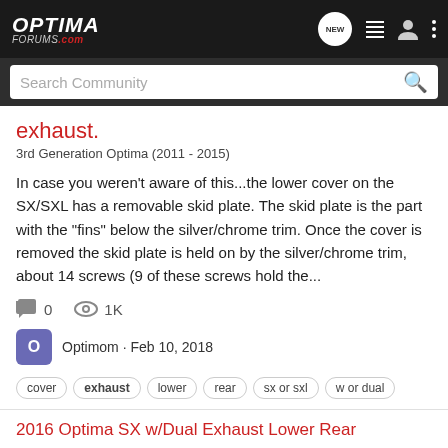OPTIMA FORUMS.com navigation bar
exhaust.
3rd Generation Optima (2011 - 2015)
In case you weren't aware of this...the lower cover on the SX/SXL has a removable skid plate. The skid plate is the part with the "fins" below the silver/chrome trim. Once the cover is removed the skid plate is held on by the silver/chrome trim, about 14 screws (9 of these screws hold the...
0   1K
Optimom · Feb 10, 2018
cover  exhaust  lower  rear  sx or sxl  w or dual
2016 Optima SX w/Dual Exhaust Lower Rear